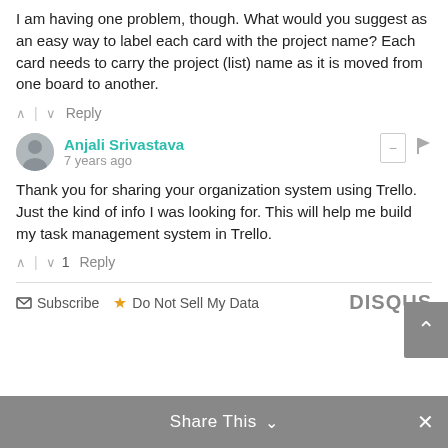I am having one problem, though. What would you suggest as an easy way to label each card with the project name? Each card needs to carry the project (list) name as it is moved from one board to another.
^ | ∨  Reply
Anjali Srivastava
7 years ago
Thank you for sharing your organization system using Trello. Just the kind of info I was looking for. This will help me build my task management system in Trello.
^ | ∨ 1  Reply
Subscribe  Do Not Sell My Data  DISQUS
Share This